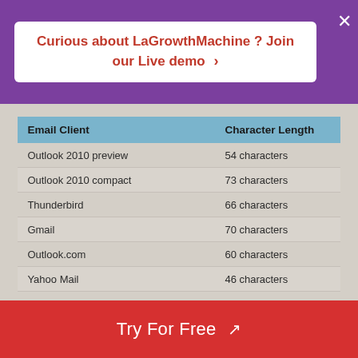Curious about LaGrowthMachine ? Join our Live demo
| Email Client | Character Length |
| --- | --- |
| Outlook 2010 preview | 54 characters |
| Outlook 2010 compact | 73 characters |
| Thunderbird | 66 characters |
| Gmail | 70 characters |
| Outlook.com | 60 characters |
| Yahoo Mail | 46 characters |
| Android (480 x 320px) portrait | 27 characters |
| Android (480 x 320px) landscape | 46 characters |
| Android (800 x 480px) portrait | 30 characters |
| Android (800 x 480px) landscape | 62 characters |
| iPhone portrait | 41 characters |
| iPhone landscape | 64 characters |
| Windows Phone portrait | 42 characters |
Try For Free ↗